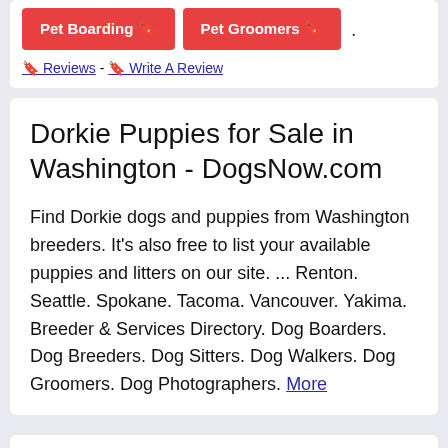Pet Boarding 🔖  Pet Groomers 🔖 .
🔖 Reviews - 🔖 Write A Review
Dorkie Puppies for Sale in Washington - DogsNow.com
Find Dorkie dogs and puppies from Washington breeders. It's also free to list your available puppies and litters on our site. ... Renton. Seattle. Spokane. Tacoma. Vancouver. Yakima. Breeder & Services Directory. Dog Boarders. Dog Breeders. Dog Sitters. Dog Walkers. Dog Groomers. Dog Photographers. More
dorkie puppy Pets and Animals For Sale